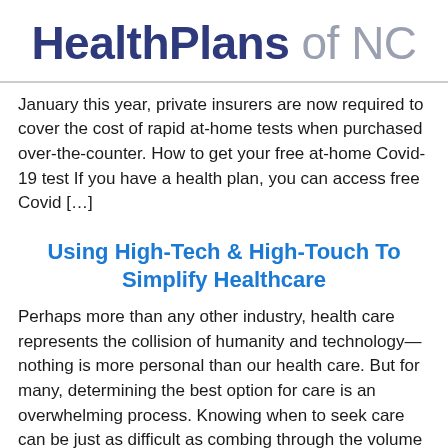HealthPlans of NC
January this year, private insurers are now required to cover the cost of rapid at-home tests when purchased over-the-counter. How to get your free at-home Covid-19 test If you have a health plan, you can access free Covid […]
Using High-Tech & High-Touch To Simplify Healthcare
Perhaps more than any other industry, health care represents the collision of humanity and technology—nothing is more personal than our health care. But for many, determining the best option for care is an overwhelming process. Knowing when to seek care can be just as difficult as combing through the volume of medical information offered online. […]